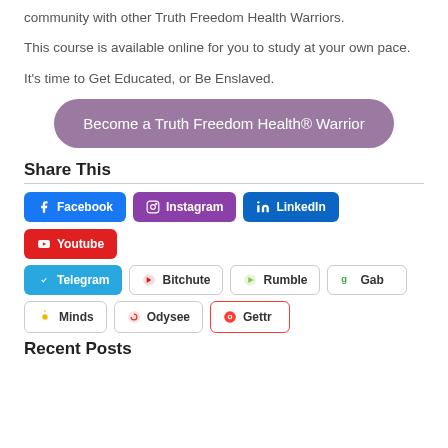community with other Truth Freedom Health Warriors.
This course is available online for you to study at your own pace.
It's time to Get Educated, or Be Enslaved.
Become a Truth Freedom Health® Warrior
Share This
[Figure (infographic): Social share buttons: Facebook, Instagram, LinkedIn, Youtube, Telegram, Bitchute, Rumble, Gab, Minds, Odysee, Gettr]
Recent Posts